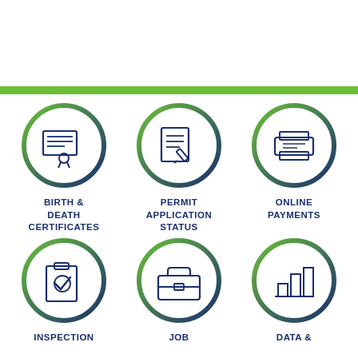[Figure (infographic): Green horizontal bar separator]
[Figure (infographic): Circle icon: Birth & Death Certificates - certificate with ribbon]
BIRTH & DEATH CERTIFICATES
[Figure (infographic): Circle icon: Permit Application Status - document with pen]
PERMIT APPLICATION STATUS
[Figure (infographic): Circle icon: Online Payments - printer/payment terminal]
ONLINE PAYMENTS
[Figure (infographic): Circle icon: Inspection - clipboard with checkmark]
INSPECTION
[Figure (infographic): Circle icon: Job - briefcase]
JOB
[Figure (infographic): Circle icon: Data & - bar chart]
DATA &